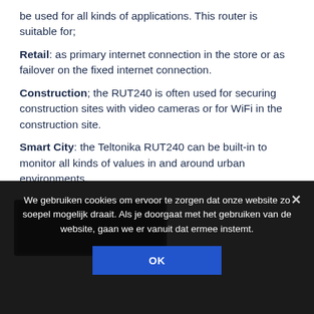be used for all kinds of applications. This router is suitable for;
Retail: as primary internet connection in the store or as failover on the fixed internet connection.
Construction; the RUT240 is often used for securing construction sites with video cameras or for WiFi in the construction site.
Smart City: the Teltonika RUT240 can be built-in to monitor all kinds of values in and around urban environments.
[Figure (photo): Teltonika RUT240 device photo, partially visible, dark rectangular router]
We gebruiken cookies om ervoor te zorgen dat onze website zo soepel mogelijk draait. Als je doorgaat met het gebruiken van de website, gaan we er vanuit dat ermee instemt.